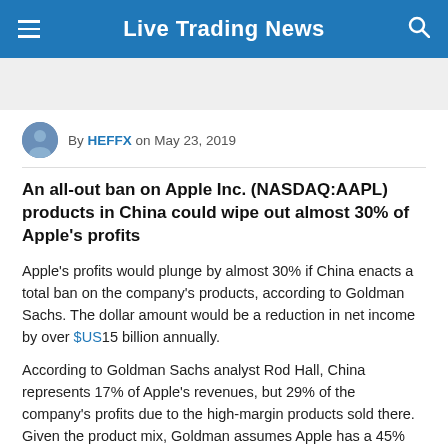Live Trading News
By HEFFX on May 23, 2019
An all-out ban on Apple Inc. (NASDAQ:AAPL) products in China could wipe out almost 30% of Apple's profits
Apple's profits would plunge by almost 30% if China enacts a total ban on the company's products, according to Goldman Sachs. The dollar amount would be a reduction in net income by over $US15 billion annually.
According to Goldman Sachs analyst Rod Hall, China represents 17% of Apple's revenues, but 29% of the company's profits due to the high-margin products sold there. Given the product mix, Goldman assumes Apple has a 45% gross margin.
Wednesday's report comes on the heels of increasing trade